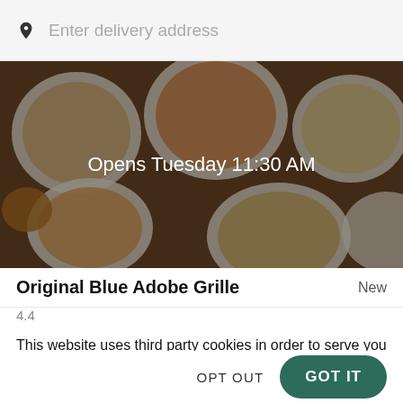Enter delivery address
[Figure (photo): Overhead view of Indian/Asian food dishes on a dark wooden table, with a dark overlay and text 'Opens Tuesday 11:30 AM' overlaid in white]
Original Blue Adobe Grille
New
This website uses third party cookies in order to serve you relevant ads on other websites. Learn more by visiting our Cookie Statement, or opt out of third party ad cookies using the button below.
OPT OUT
GOT IT